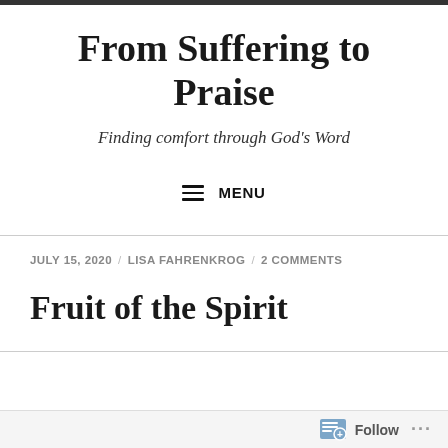From Suffering to Praise
Finding comfort through God's Word
MENU
JULY 15, 2020 / LISA FAHRENKROG / 2 COMMENTS
Fruit of the Spirit
Follow